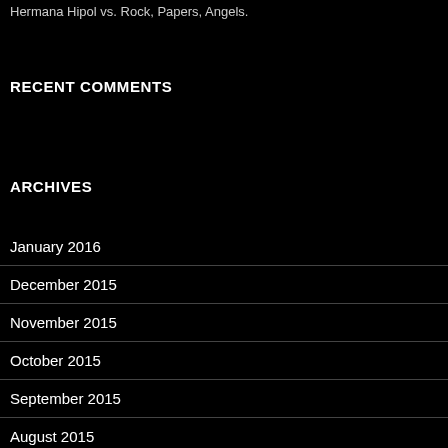Hermana Hipol vs. Rock, Papers, Angels.
RECENT COMMENTS
ARCHIVES
January 2016
December 2015
November 2015
October 2015
September 2015
August 2015
July 2015